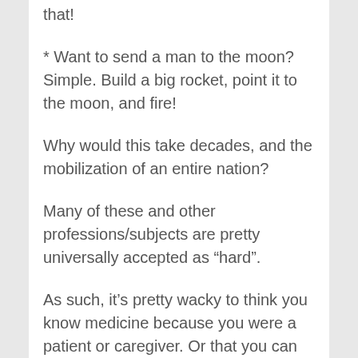that!
* Want to send a man to the moon? Simple. Build a big rocket, point it to the moon, and fire!
Why would this take decades, and the mobilization of an entire nation?
Many of these and other professions/subjects are pretty universally accepted as “hard”.
As such, it’s pretty wacky to think you know medicine because you were a patient or caregiver. Or that you can do orbital